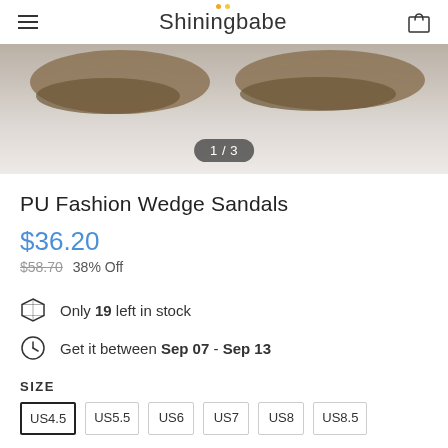Shiningbabe
[Figure (photo): Product photo of PU Fashion Wedge Sandals, partial top view showing shoes on light surface. Image counter shows 1/3.]
PU Fashion Wedge Sandals
$36.20
$58.70  38% Off
Only 19 left in stock
Get it between Sep 07 - Sep 13
SIZE
US4.5
US5.5
US6
US7
US8
US8.5